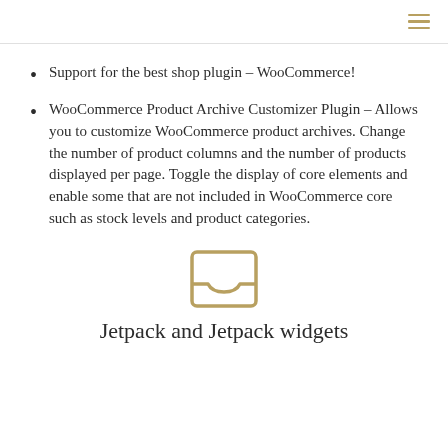☰
Support for the best shop plugin – WooCommerce!
WooCommerce Product Archive Customizer Plugin – Allows you to customize WooCommerce product archives. Change the number of product columns and the number of products displayed per page. Toggle the display of core elements and enable some that are not included in WooCommerce core such as stock levels and product categories.
[Figure (illustration): A golden/tan colored inbox tray icon — a rectangular tray outline with a small curved notch at the bottom center, drawn in a golden/mustard color outline style.]
Jetpack and Jetpack widgets